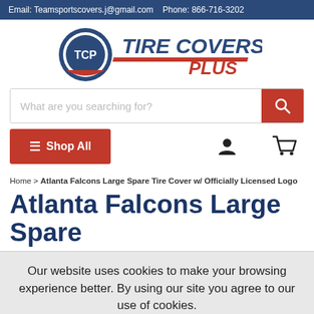Email: Teamsportscovers.j@gmail.com   Phone: 866-716-3202
[Figure (logo): TCP Tire Covers Plus logo — circular TCP emblem on the left, bold navy and red 'TIRE COVERS PLUS' text on the right]
[Figure (screenshot): Search bar with placeholder 'What are you searching for?' and red search button on right]
[Figure (screenshot): Navigation row with red 'Shop All' button (hamburger icon), user icon, and cart icon]
Home > Atlanta Falcons Large Spare Tire Cover w/ Officially Licensed Logo
Atlanta Falcons Large Spare
Our website uses cookies to make your browsing experience better. By using our site you agree to our use of cookies. Learn More
I Agree